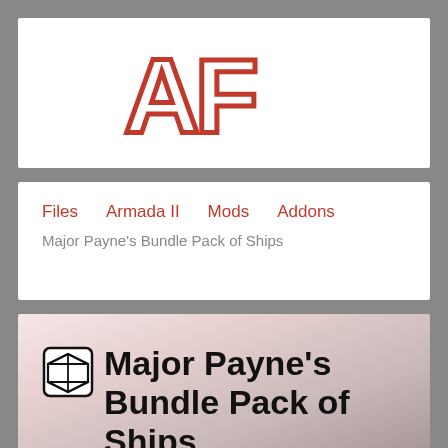[Figure (logo): AF logo in large red outlined block letters on white background]
Files   Armada II   Mods   Addons
Major Payne's Bundle Pack of Ships
Major Payne's Bundle Pack of Ships
Major A Payne, 2006-02-20  ★★★★½ (17 votes)
Well well well. What you have in this pack is not just one ship. As the title suggests, it's a "pack". What we have is no less then eight ships, eager to join in the battle for their